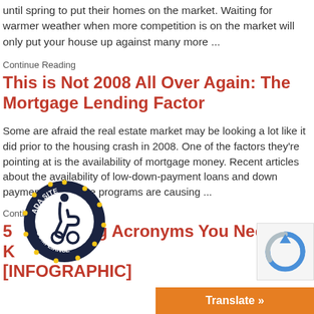until spring to put their homes on the market. Waiting for warmer weather when more competition is on the market will only put your house up against many more ...
Continue Reading
This is Not 2008 All Over Again: The Mortgage Lending Factor
Some are afraid the real estate market may be looking a lot like it did prior to the housing crash in 2008. One of the factors they're pointing at is the availability of mortgage money. Recent articles about the availability of low-down-payment loans and down payment assistance programs are causing ...
Continue Reading
5 [INFOGRAPHIC] ing Acronyms You Need to K
[Figure (logo): ADA Site Compliance circular badge with wheelchair accessibility icon]
[Figure (other): reCAPTCHA widget icon]
Translate »